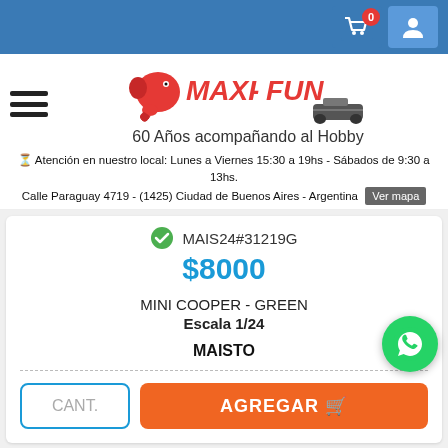Maxi-Fun - 60 Años acompañando al Hobby
Atención en nuestro local: Lunes a Viernes 15:30 a 19hs - Sábados de 9:30 a 13hs. Calle Paraguay 4719 - (1425) Ciudad de Buenos Aires - Argentina  Ver mapa
MAIS24#31219G
$8000
MINI COOPER - GREEN
Escala 1/24
MAISTO
CANT.
AGREGAR 🛒